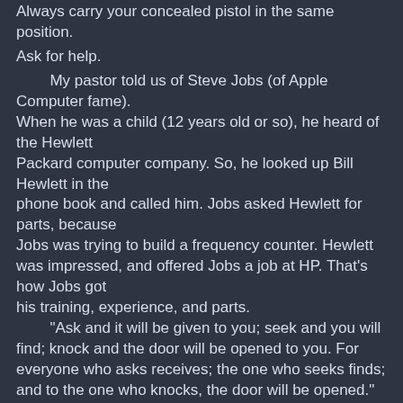Always carry your concealed pistol in the same position.
Ask for help.
     My pastor told us of Steve Jobs (of Apple Computer fame).
When he was a child (12 years old or so), he heard of the Hewlett
Packard computer company.  So, he looked up Bill Hewlett in the
phone book and called him.  Jobs asked Hewlett for parts, because
Jobs was trying to build a frequency counter.  Hewlett was impressed, and offered Jobs a job at HP.  That's how Jobs got
his training, experience, and parts.
     "Ask and it will be given to you; seek and you will find; knock and the door will be opened to you.  For everyone who asks receives; the one who seeks finds; and to the one who knocks, the door will be opened."
-- Matthew 7:7-8, New International Version (NIV)
     If you think you can learn this defensive pistol craft stuff all by yourself, you are wrong. You have to ask for